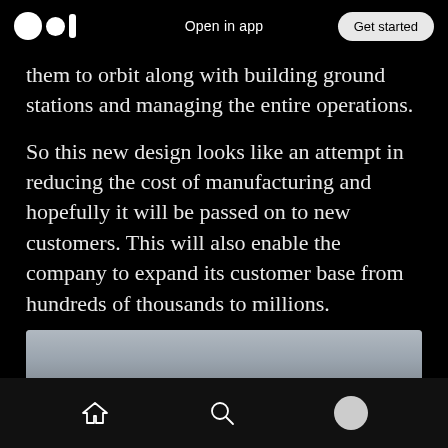Open in app | Get started
them to orbit along with building ground stations and managing the entire operations.
So this new design looks like an attempt in reducing the cost of manufacturing and hopefully it will be passed on to new customers. This will also enable the company to expand its customer base from hundreds of thousands to millions.
[Figure (photo): A partial view of a sky/aerial photograph, gray overcast sky with a faint silhouette near the bottom center.]
Home | Search | Profile navigation icons